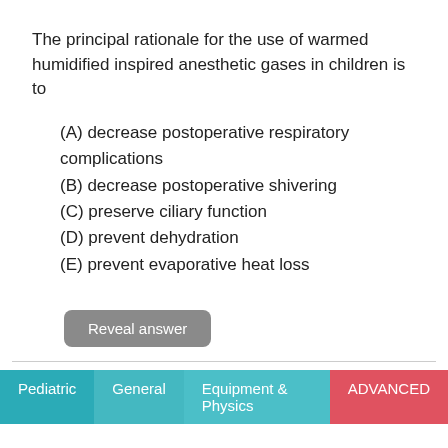The principal rationale for the use of warmed humidified inspired anesthetic gases in children is to
(A) decrease postoperative respiratory complications
(B) decrease postoperative shivering
(C) preserve ciliary function
(D) prevent dehydration
(E) prevent evaporative heat loss
Reveal answer
Pediatric   General   Equipment & Physics   ADVANCED
During laser excision of vocal cord polyps in a 5-year-old boy, dark smoke suddenly appears